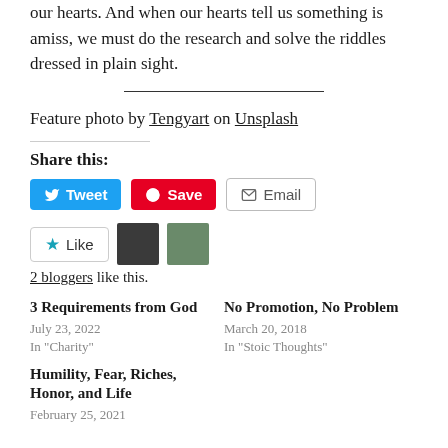our hearts. And when our hearts tell us something is amiss, we must do the research and solve the riddles dressed in plain sight.
Feature photo by Tengyart on Unsplash
Share this:
[Figure (infographic): Social share buttons: Tweet (blue), Save (red Pinterest), Email (grey outline)]
[Figure (infographic): Like button with star icon and two blogger avatars]
2 bloggers like this.
3 Requirements from God
July 23, 2022
In "Charity"
No Promotion, No Problem
March 20, 2018
In "Stoic Thoughts"
Humility, Fear, Riches, Honor, and Life
February 25, 2021